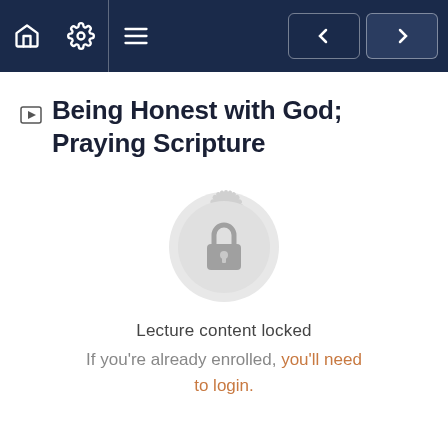Navigation bar with home, settings, menu icons and previous/next navigation buttons
Being Honest with God; Praying Scripture
[Figure (illustration): Circular decorative badge/seal icon with a padlock in the center, light gray in color, indicating locked content]
Lecture content locked
If you're already enrolled, you'll need to login.